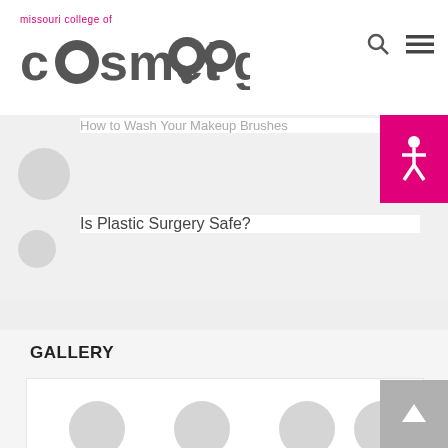missouri college of cosmetology
How to Wash Your Makeup Brushes
Is Plastic Surgery Safe?
GALLERY
[Figure (illustration): Gallery grid with four circular placeholder images]
[Figure (other): Back to top button with upward arrow]